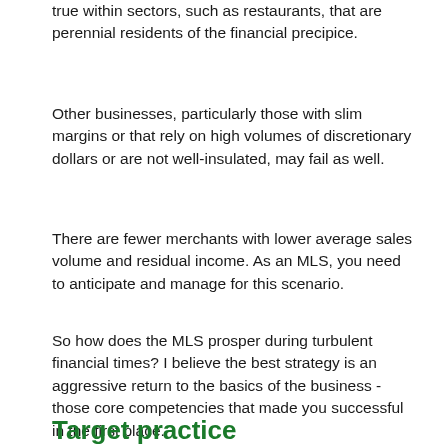true within sectors, such as restaurants, that are perennial residents of the financial precipice.
Other businesses, particularly those with slim margins or that rely on high volumes of discretionary dollars or are not well-insulated, may fail as well.
There are fewer merchants with lower average sales volume and residual income. As an MLS, you need to anticipate and manage for this scenario.
So how does the MLS prosper during turbulent financial times? I believe the best strategy is an aggressive return to the basics of the business - those core competencies that made you successful in the first place.
Target practice